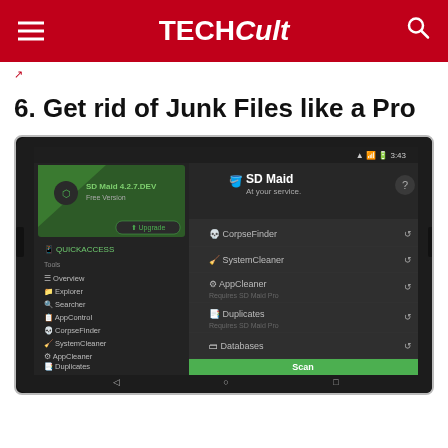TECHCult
6. Get rid of Junk Files like a Pro
[Figure (screenshot): Screenshot of SD Maid app on Android tablet showing tools menu with options: CorpseFinder, SystemCleaner, AppCleaner (Requires SD Maid Pro), Duplicates (Requires SD Maid Pro), Databases, and a green Scan button at the bottom]